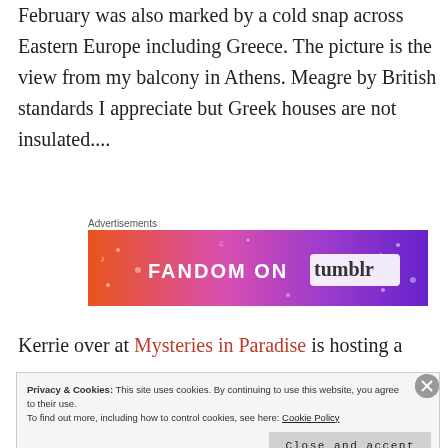February was also marked by a cold snap across Eastern Europe including Greece. The picture is the view from my balcony in Athens. Meagre by British standards I appreciate but Greek houses are not insulated....
Advertisements
[Figure (illustration): Colorful advertisement banner for 'FANDOM ON tumblr' with orange, pink and purple gradient background with decorative elements]
Kerrie over at Mysteries in Paradise is hosting a meme
Privacy & Cookies: This site uses cookies. By continuing to use this website, you agree to their use.
To find out more, including how to control cookies, see here: Cookie Policy
Close and accept